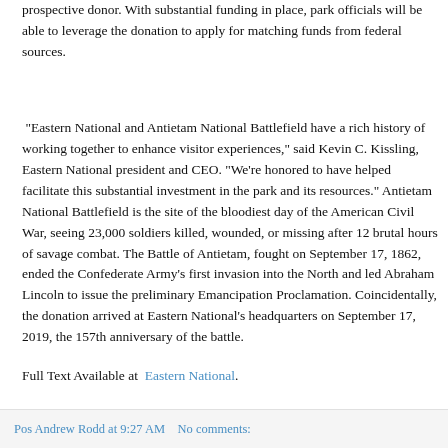prospective donor. With substantial funding in place, park officials will be able to leverage the donation to apply for matching funds from federal sources.
“Eastern National and Antietam National Battlefield have a rich history of working together to enhance visitor experiences,” said Kevin C. Kissling, Eastern National president and CEO. “We’re honored to have helped facilitate this substantial investment in the park and its resources.” Antietam National Battlefield is the site of the bloodiest day of the American Civil War, seeing 23,000 soldiers killed, wounded, or missing after 12 brutal hours of savage combat. The Battle of Antietam, fought on September 17, 1862, ended the Confederate Army’s first invasion into the North and led Abraham Lincoln to issue the preliminary Emancipation Proclamation. Coincidentally, the donation arrived at Eastern National’s headquarters on September 17, 2019, the 157th anniversary of the battle.
Full Text Available at  Eastern National.
Pos Andrew Rodd at 9:27 AM   No comments: